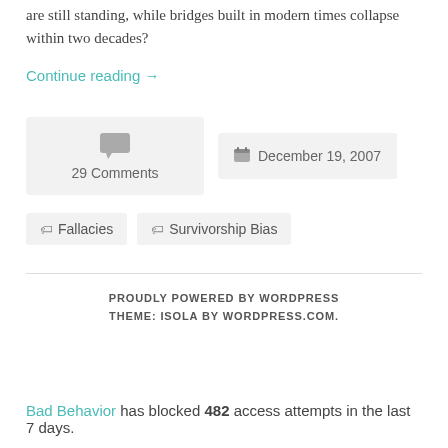are still standing, while bridges built in modern times collapse within two decades?
Continue reading →
29 Comments
December 19, 2007
Fallacies
Survivorship Bias
PROUDLY POWERED BY WORDPRESS
THEME: ISOLA BY WORDPRESS.COM.
Bad Behavior has blocked 482 access attempts in the last 7 days.